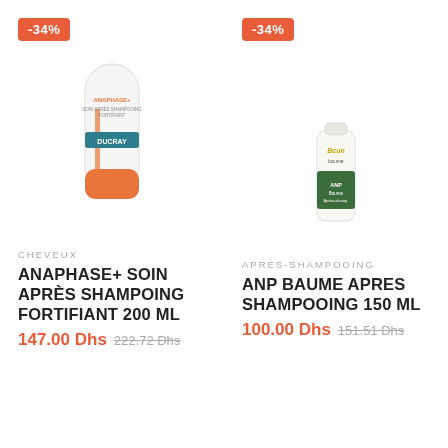[Figure (photo): Ducray Anaphase+ conditioner tube with orange cap, white body, -34% discount badge in red]
[Figure (photo): ANP Baume small bottle with green label, -34% discount badge in red]
CHEVEUX
APRÈS-SHAMPOOING
ANAPHASE+ SOIN APRÈS SHAMPOING FORTIFIANT 200 ML
ANP BAUME APRES SHAMPOOING 150 ML
147.00 Dhs  222.72 Dhs
100.00 Dhs  151.51 Dhs